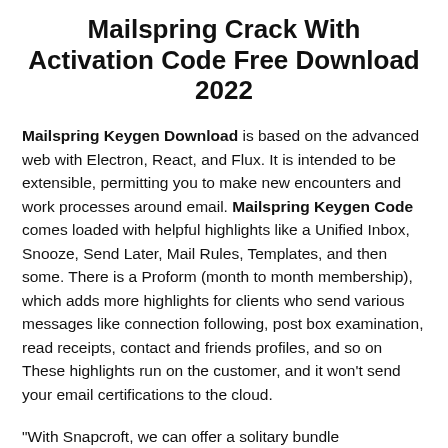Mailspring Crack With Activation Code Free Download 2022
Mailspring Keygen Download is based on the advanced web with Electron, React, and Flux. It is intended to be extensible, permitting you to make new encounters and work processes around email. Mailspring Keygen Code comes loaded with helpful highlights like a Unified Inbox, Snooze, Send Later, Mail Rules, Templates, and then some. There is a Proform (month to month membership), which adds more highlights for clients who send various messages like connection following, post box examination, read receipts, contact and friends profiles, and so on These highlights run on the customer, and it won't send your email certifications to the cloud.
"With Snapcroft, we can offer a solitary bundle